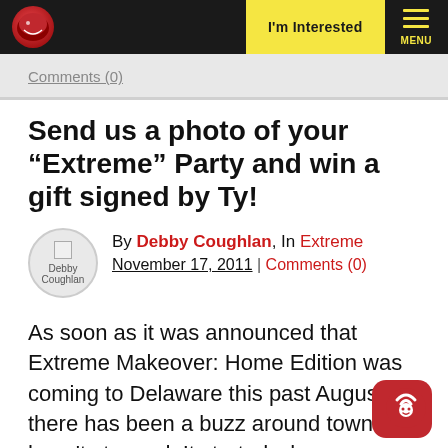I'm Interested | MENU
Comments (0)
Send us a photo of your "Extreme" Party and win a gift signed by Ty!
By Debby Coughlan, In Extreme November 17, 2011 | Comments (0)
As soon as it was announced that Extreme Makeover: Home Edition was coming to Delaware this past Augus there has been a buzz around town hasn't stopped. It started when we